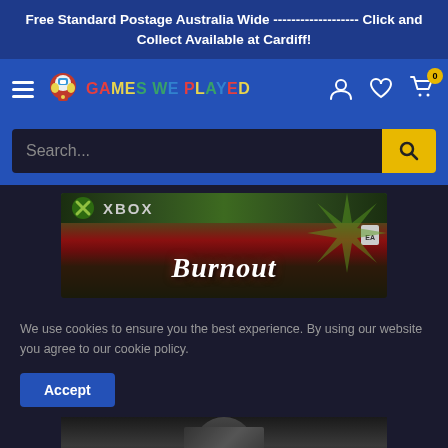Free Standard Postage Australia Wide ------------------- Click and Collect Available at Cardiff!
[Figure (logo): Games We Played website logo with pixel-art mascot character and colorful text]
[Figure (screenshot): Search bar with dark background input field and yellow search button]
[Figure (photo): Xbox game case showing BurnOut or similar game title with Xbox logo]
We use cookies to ensure you the best experience. By using our website you agree to our cookie policy.
[Figure (screenshot): Accept button for cookie policy]
[Figure (photo): Bottom portion of another game case, partially visible]